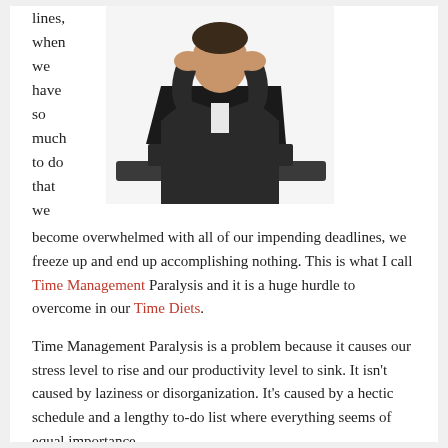lines, when we have so much to do that we
[Figure (photo): Man in suit sitting at a desk with a laptop, head in hands, looking stressed]
become overwhelmed with all of our impending deadlines, we freeze up and end up accomplishing nothing. This is what I call Time Management Paralysis and it is a huge hurdle to overcome in our Time Diets.
Time Management Paralysis is a problem because it causes our stress level to rise and our productivity level to sink. It isn’t caused by laziness or disorganization. It’s caused by a hectic schedule and a lengthy to-do list where everything seems of equal importance.
This week, I had to overcome a serious case of Time Management Paralysis. I went up to my office, sat down